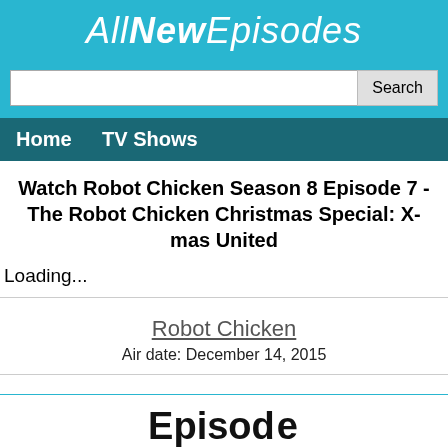AllNewEpisodes
Search
Home   TV Shows
Watch Robot Chicken Season 8 Episode 7 - The Robot Chicken Christmas Special: X-mas United
Loading...
Robot Chicken
Air date: December 14, 2015